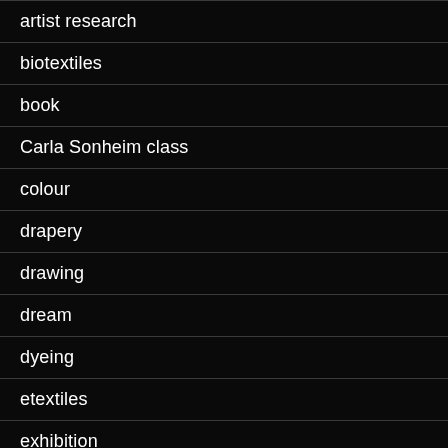artist research
biotextiles
book
Carla Sonheim class
colour
drapery
drawing
dream
dyeing
etextiles
exhibition
fix-me